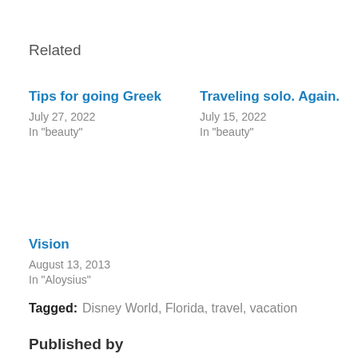Related
Tips for going Greek
July 27, 2022
In "beauty"
Traveling solo. Again.
July 15, 2022
In "beauty"
Vision
August 13, 2013
In "Aloysius"
Tagged: Disney World, Florida, travel, vacation
Published by